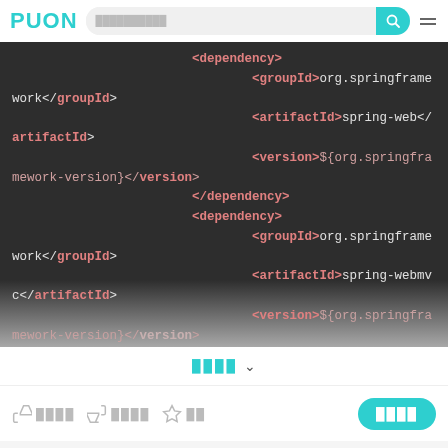Puon [search bar] [menu]
[Figure (screenshot): Dark code editor screenshot showing XML/Maven pom.xml dependency configuration with spring-web and spring-webmvc dependencies. Tags shown in salmon/pink color on dark background, including <dependency>, <groupId>org.springframework</groupId>, <artifactId>spring-web</artifactId>, <version>${org.springframework-version}</version>, </dependency>, <dependency>, <groupId>org.springframework</groupId>, <artifactId>spring-webmvc</artifactId>, <version>${org.springframework-version}</version>, </dependency>, <dependency>, <groupId>org.springframework (partial)]
展开全部 ∨
👍 0000 👎 0000 ⭐ 00   [收藏按钮]